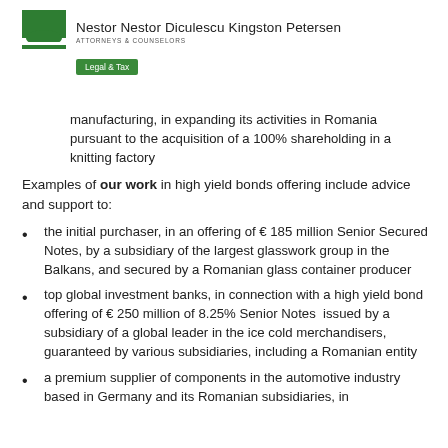[Figure (logo): Nestor Nestor Diculescu Kingston Petersen law firm logo with green square icon and text, plus Legal & Tax badge]
manufacturing, in expanding its activities in Romania pursuant to the acquisition of a 100% shareholding in a knitting factory
Examples of our work in high yield bonds offering include advice and support to:
the initial purchaser, in an offering of € 185 million Senior Secured Notes, by a subsidiary of the largest glasswork group in the Balkans, and secured by a Romanian glass container producer
top global investment banks, in connection with a high yield bond offering of € 250 million of 8.25% Senior Notes issued by a subsidiary of a global leader in the ice cold merchandisers, guaranteed by various subsidiaries, including a Romanian entity
a premium supplier of components in the automotive industry based in Germany and its Romanian subsidiaries, in